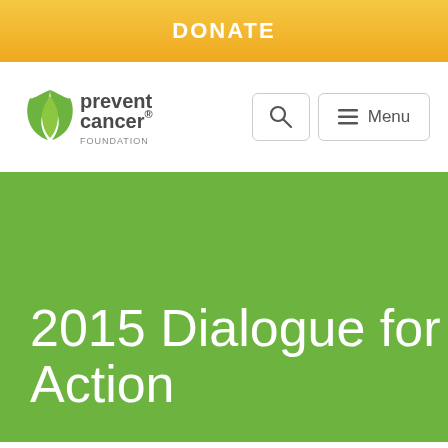DONATE
[Figure (logo): Prevent Cancer Foundation logo with green flame icon and text 'prevent cancer FOUNDATION']
2015 Dialogue for Action
[Figure (infographic): Social sharing icons row: email (green), Facebook (dark blue), Twitter (light blue), LinkedIn (dark blue)]